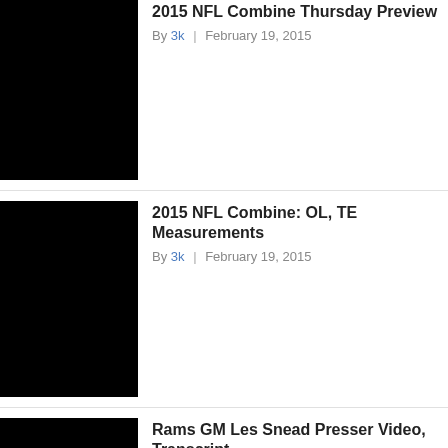[Figure (photo): Black thumbnail image for article 1]
2015 NFL Combine Thursday Preview
By 3k | February 19, 2015
[Figure (photo): Black thumbnail image for article 2]
2015 NFL Combine: OL, TE Measurements
By 3k | February 19, 2015
[Figure (photo): Black thumbnail image for article 3]
Rams GM Les Snead Presser Video, Transcript
By 3k | February 19, 2015